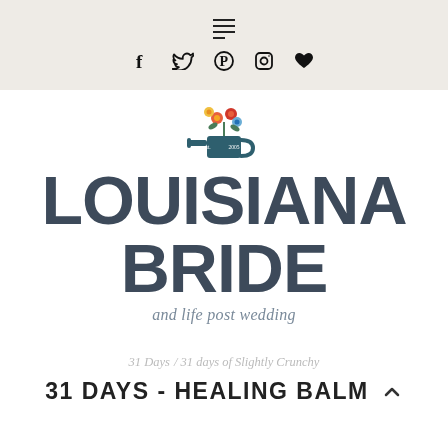Menu / Social icons bar
[Figure (logo): Louisiana Bride logo with watering can and flowers illustration, est. 2005]
LOUISIANA BRIDE
and life post wedding
31 Days / 31 days of Slightly Crunchy
31 DAYS - HEALING BALM